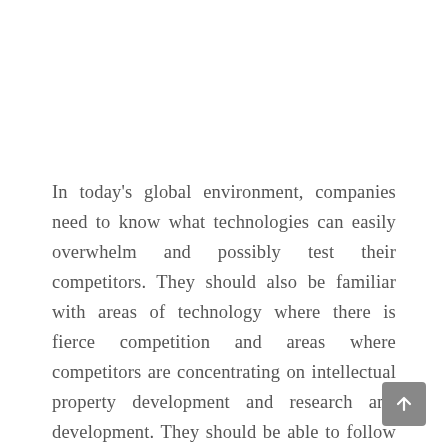In today's global environment, companies need to know what technologies can easily overwhelm and possibly test their competitors. They should also be familiar with areas of technology where there is fierce competition and areas where competitors are concentrating on intellectual property development and research and development. They should be able to follow strategies for obtaining and developing patents and mapping a competitive environment. To evaluate technology before making an investment decision, companies need to know how quickly technology patenting is taking place, what patents embody fundamental ideas in technology, and how vulnerable the company's technology is to technological disruptions. This gives them important information when choosing between technological